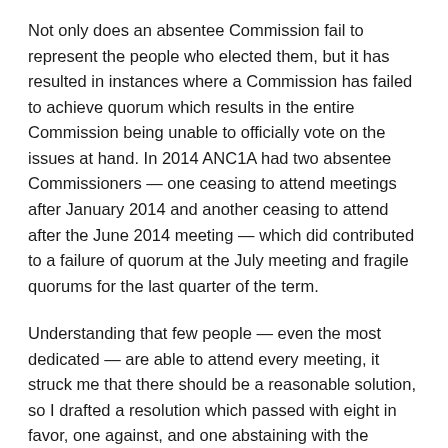Not only does an absentee Commission fail to represent the people who elected them, but it has resulted in instances where a Commission has failed to achieve quorum which results in the entire Commission being unable to officially vote on the issues at hand. In 2014 ANC1A had two absentee Commissioners — one ceasing to attend meetings after January 2014 and another ceasing to attend after the June 2014 meeting — which did contributed to a failure of quorum at the July meeting and fragile quorums for the last quarter of the term.
Understanding that few people — even the most dedicated — are able to attend every meeting, it struck me that there should be a reasonable solution, so I drafted a resolution which passed with eight in favor, one against, and one abstaining with the following resolve: